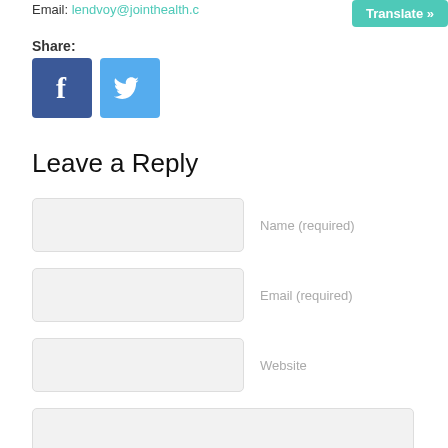Email: lendvoy@jointhealth.c...
[Figure (other): Translate button (teal/green rounded rectangle with white text 'Translate »')]
Share:
[Figure (other): Facebook share icon (blue square with white 'f' logo) and Twitter share icon (light blue square with white bird logo)]
Leave a Reply
Name (required)
Email (required)
Website